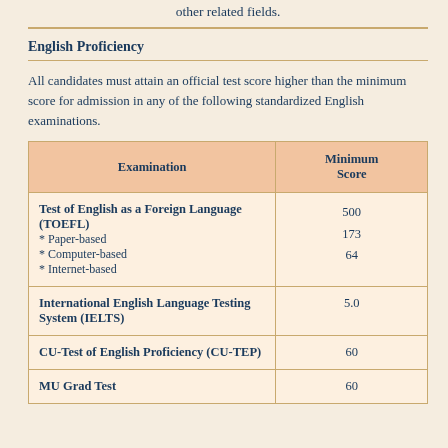other related fields.
English Proficiency
All candidates must attain an official test score higher than the minimum score for admission in any of the following standardized English examinations.
| Examination | Minimum Score |
| --- | --- |
| Test of English as a Foreign Language (TOEFL)
* Paper-based
* Computer-based
* Internet-based | 500
173
64 |
| International English Language Testing System (IELTS) | 5.0 |
| CU-Test of English Proficiency (CU-TEP) | 60 |
| MU Grad Test | 60 |